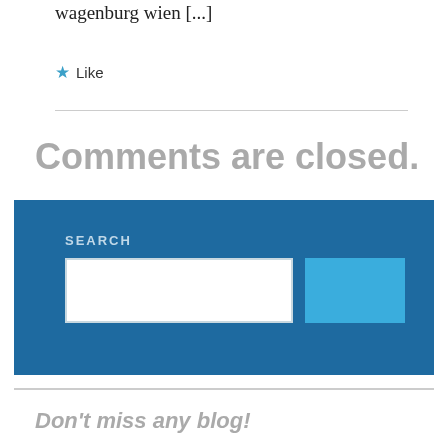wagenburg wien [...]
★ Like
Comments are closed.
[Figure (screenshot): Search widget with dark blue background, a text input field and a lighter blue button]
Don't miss any blog!